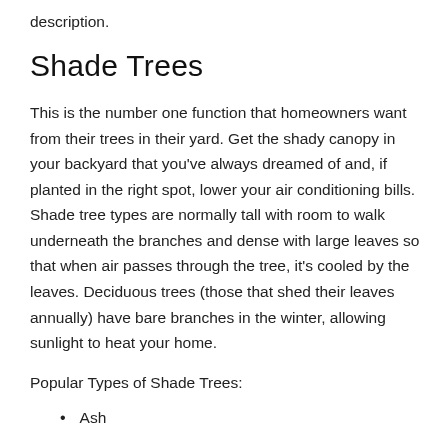description.
Shade Trees
This is the number one function that homeowners want from their trees in their yard. Get the shady canopy in your backyard that you've always dreamed of and, if planted in the right spot, lower your air conditioning bills. Shade tree types are normally tall with room to walk underneath the branches and dense with large leaves so that when air passes through the tree, it's cooled by the leaves. Deciduous trees (those that shed their leaves annually) have bare branches in the winter, allowing sunlight to heat your home.
Popular Types of Shade Trees:
Ash